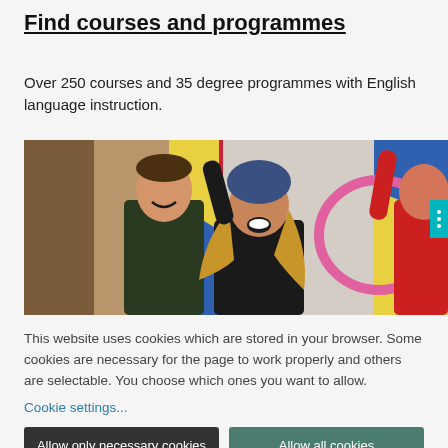Find courses and programmes
Over 250 courses and 35 degree programmes with English language instruction.
[Figure (photo): Students celebrating outdoors, one woman in center with arms raised wearing a blue beanie, a man smiling on the left, another person on the right with a pink hula hoop visible, colorful flags in background.]
This website uses cookies which are stored in your browser. Some cookies are necessary for the page to work properly and others are selectable. You choose which ones you want to allow.
Cookie settings...
Allow only necessary cookies
Allow all cookies